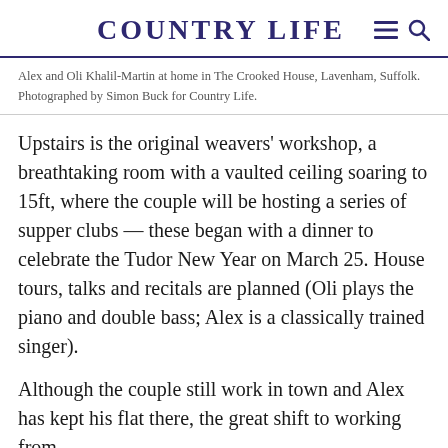COUNTRY LIFE
Alex and Oli Khalil-Martin at home in The Crooked House, Lavenham, Suffolk. Photographed by Simon Buck for Country Life.
Upstairs is the original weavers’ workshop, a breathtaking room with a vaulted ceiling soaring to 15ft, where the couple will be hosting a series of supper clubs — these began with a dinner to celebrate the Tudor New Year on March 25. House tours, talks and recitals are planned (Oli plays the piano and double bass; Alex is a classically trained singer).
Although the couple still work in town and Alex has kept his flat there, the great shift to working from